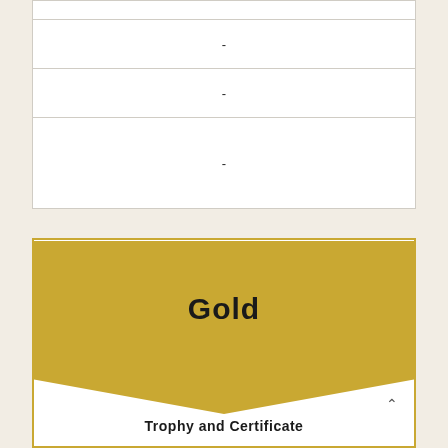|  |
| - |
| - |
| - |
[Figure (other): Gold award card with a gold chevron/banner shape at the top containing the word 'Gold' in bold, and 'Trophy and Certificate' text at the bottom. A small upward chevron icon is in the bottom right.]